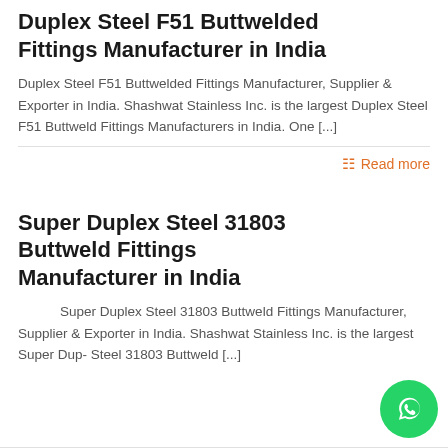Duplex Steel F51 Buttwelded Fittings Manufacturer in India
Duplex Steel F51 Buttwelded Fittings Manufacturer, Supplier & Exporter in India. Shashwat Stainless Inc. is the largest Duplex Steel F51 Buttweld Fittings Manufacturers in India. One [...]
Read more
Super Duplex Steel 31803 Buttweld Fittings Manufacturer in India
Super Duplex Steel 31803 Buttweld Fittings Manufacturer, Supplier & Exporter in India. Shashwat Stainless Inc. is the largest Super Duplex Steel 31803 Buttweld [...]